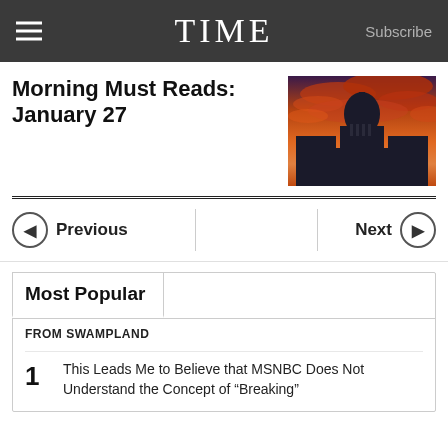TIME  Subscribe
Morning Must Reads: January 27
[Figure (photo): Silhouette of the US Capitol building against a vivid orange and red sunset sky with dramatic clouds]
Most Popular
FROM SWAMPLAND
This Leads Me to Believe that MSNBC Does Not Understand the Concept of “Breaking”